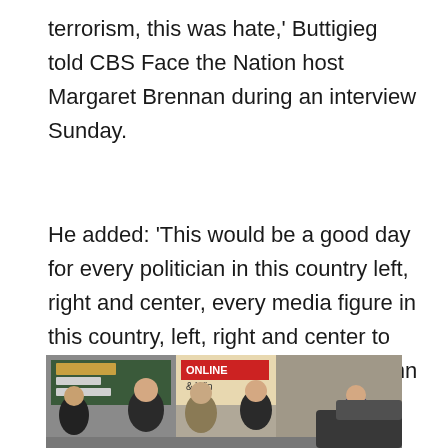terrorism, this was hate,' Buttigieg told CBS Face the Nation host Margaret Brennan during an interview Sunday.
He added: 'This would be a good day for every politician in this country left, right and center, every media figure in this country, left, right and center to come out and unequivocally condemn white nationalism, so-called replacement theory, and any other hateful ideology that could have contributed to something like this before it happens again.'
[Figure (photo): Photo of a person in a tan/olive shirt being escorted by law enforcement officers outside a store with signs reading 'ONLINE' and 'Groceries for a year' visible in the background.]